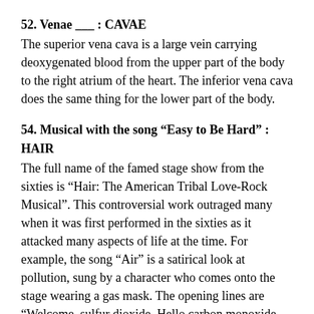52. Venae ___ : CAVAE
The superior vena cava is a large vein carrying deoxygenated blood from the upper part of the body to the right atrium of the heart. The inferior vena cava does the same thing for the lower part of the body.
54. Musical with the song “Easy to Be Hard” : HAIR
The full name of the famed stage show from the sixties is “Hair: The American Tribal Love-Rock Musical”. This controversial work outraged many when it was first performed in the sixties as it attacked many aspects of life at the time. For example, the song “Air” is a satirical look at pollution, sung by a character who comes onto the stage wearing a gas mask. The opening lines are “Welcome, sulfur dioxide. Hello carbon monoxide. The air … is everywhere”. How things have changed in fifty years said he satirically. I’ve never had the